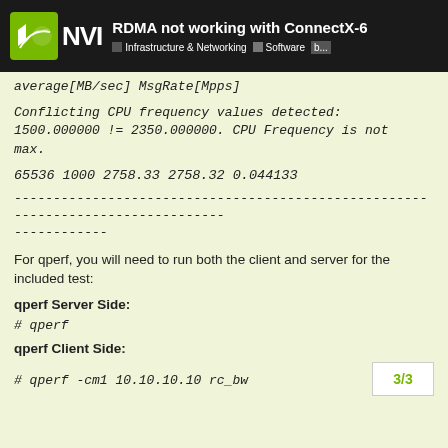RDMA not working with ConnectX-6 | Infrastructure & Networking | Software b...
average[MB/sec] MsgRate[Mpps]
Conflicting CPU frequency values detected: 1500.000000 != 2350.000000. CPU Frequency is not max.
65536 1000 2758.33 2758.32 0.044133
--------------------------------------------------------------------------------
------------
For qperf, you will need to run both the client and server for the included test:
qperf Server Side:
# qperf
qperf Client Side:
# qperf -cm1 10.10.10.10 rc_bw